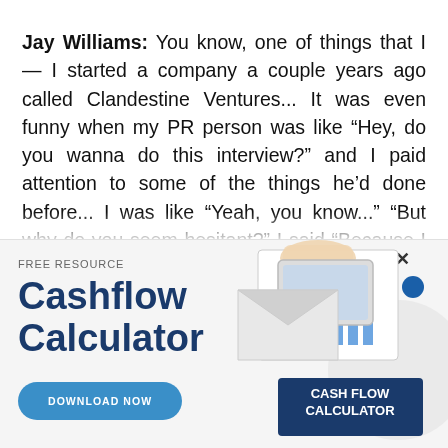Jay Williams: You know, one of things that I — I started a company a couple years ago called Clandestine Ventures... It was even funny when my PR person was like “Hey, do you wanna do this interview?” and I paid attention to some of the things he’d done before... I was like “Yeah, you know...” “But why do you seem hesitant?” I said “Because I don’t like talking about some of
[Figure (infographic): Advertisement banner for a free Cashflow Calculator resource. Contains FREE RESOURCE label, Cashflow Calculator title in dark blue bold text, a DOWNLOAD NOW button in blue, an X close button, a blue dot, and an image of hands using a tablet with cash flow charts and a dark blue card labeled CASH FLOW CALCULATOR.]